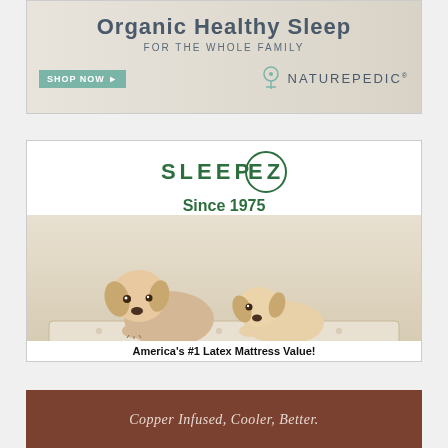[Figure (illustration): Naturepedic advertisement for Organic Healthy Sleep For The Whole Family with a SHOP NOW button and Naturepedic logo]
[Figure (illustration): SleepEZ advertisement showing logo with circle, 'Since 1975', two golden retriever puppies lying on a mattress, and tagline 'America's #1 Latex Mattress Value!']
[Figure (illustration): Brown/copper colored advertisement with text 'Copper Infused, Cooler, Better.' in italic serif font]